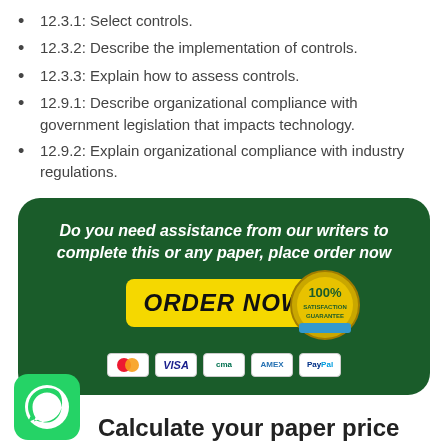12.3.1: Select controls.
12.3.2: Describe the implementation of controls.
12.3.3: Explain how to assess controls.
12.9.1: Describe organizational compliance with government legislation that impacts technology.
12.9.2: Explain organizational compliance with industry regulations.
[Figure (infographic): Dark green rounded banner with white bold italic text: 'Do you need assistance from our writers to complete this or any paper, place order now'. Yellow ORDER NOW button with 100% Satisfaction Guarantee seal. Payment icons: Mastercard, VISA, CMA, AMEX, PayPal.]
[Figure (logo): WhatsApp green circular icon in bottom left corner.]
Calculate your paper price